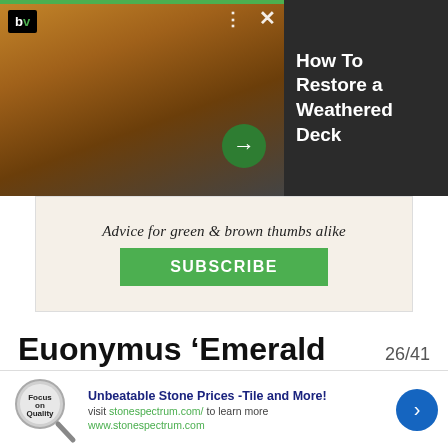[Figure (screenshot): Video thumbnail showing a weathered deck being restored, with a dark sidebar showing text 'How To Restore a Weathered Deck'. Includes bv logo, close (X) button, three-dot menu, and a green arrow button.]
[Figure (screenshot): Advertisement banner with beige background. Text reads 'Advice for green & brown thumbs alike' with a green SUBSCRIBE button.]
Euonymus ‘Emerald Gaiety’
26/41
[Figure (screenshot): Bottom advertisement banner: magnifying glass logo with 'Focus on Quality' text, blue bold headline 'Unbeatable Stone Prices -Tile and More!', visit text, URL www.stonespectrum.com, and a blue circular arrow button.]